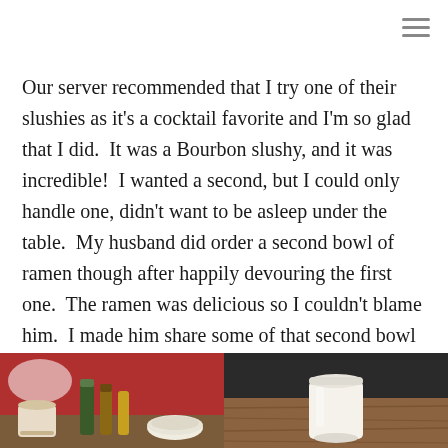Our server recommended that I try one of their slushies as it's a cocktail favorite and I'm so glad that I did.  It was a Bourbon slushy, and it was incredible!  I wanted a second, but I could only handle one, didn't want to be asleep under the table.  My husband did order a second bowl of ramen though after happily devouring the first one.  The ramen was delicious so I couldn't blame him.  I made him share some of that second bowl with me.
[Figure (photo): Two restaurant photos side by side: left photo shows a cup and condiments on a table with red seating visible; right photo shows a white paper cup on a wooden table.]